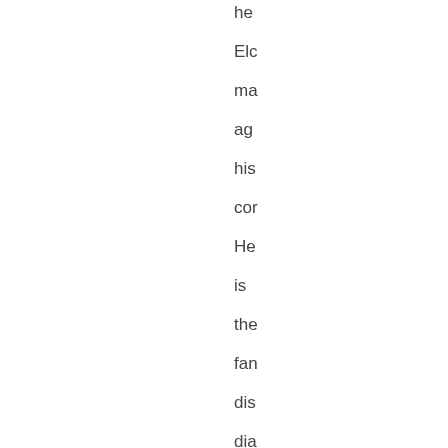he Elc ma age his cor He is the fan dis dia Th thr line No is the